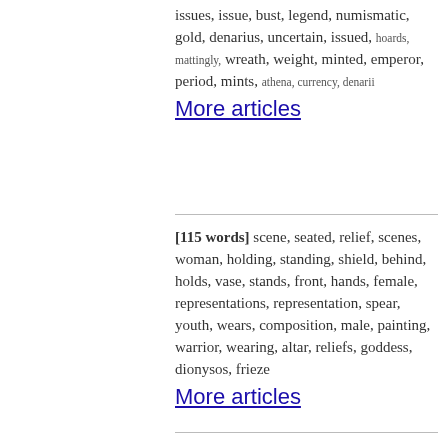issues, issue, bust, legend, numismatic, gold, denarius, uncertain, issued, hoards, mattingly, wreath, weight, minted, emperor, period, mints, athena, currency, denarii
More articles
[115 words] scene, seated, relief, scenes, woman, holding, standing, shield, behind, holds, vase, stands, front, hands, female, representations, representation, spear, youth, wears, composition, male, painting, warrior, wearing, altar, reliefs, goddess, dionysos, frieze
More articles
[84 words] christian, pagan, augustine, christians, christianity, jerome, church, eusebius, bishop, christ, ambrose, tertullian, prudentius, gregory, paul, letter, religious, persecution, pagans, basil, bishops, migne, clement, origen, new_testament, paganism, acts, chrysostom, gospel, letters
More articles
[84 words] himself, young, ever, whom,